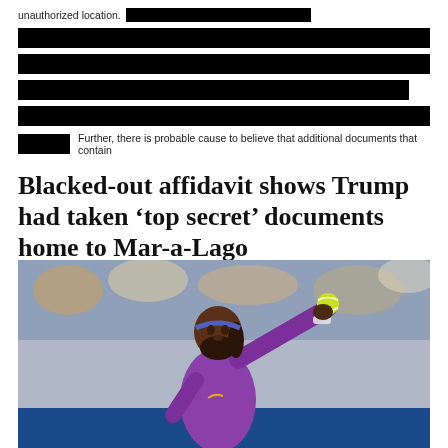unauthorized location. [REDACTED]
[REDACTED BLOCK]
[REDACTED BLOCK]
[REDACTED BLOCK]
[REDACTED BLOCK]
[REDACTED] Further, there is probable cause to believe that additional documents that contain
Blacked-out affidavit shows Trump had taken ‘top secret’ documents home to Mar-a-Lago
[Figure (photo): Photo of a female tennis player in a purple Nike outfit holding up a tennis ball, with a crowd of spectators visible in the background at what appears to be a major tennis tournament.]